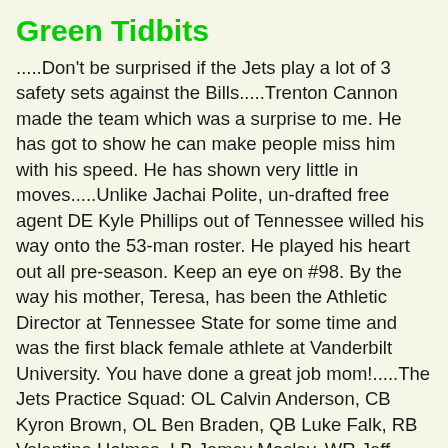Green Tidbits
.....Don't be surprised if the Jets play a lot of 3 safety sets against the Bills.....Trenton Cannon made the team which was a surprise to me. He has got to show he can make people miss him with his speed. He has shown very little in moves.....Unlike Jachai Polite, un-drafted free agent DE Kyle Phillips out of Tennessee willed his way onto the 53-man roster. He played his heart out all pre-season. Keep an eye on #98. By the way his mother, Teresa, has been the Athletic Director at Tennessee State for some time and was the first black female athlete at Vanderbilt University. You have done a great job mom!.....The Jets Practice Squad: OL Calvin Anderson, CB Kyron Brown, OL Ben Braden, QB Luke Falk, RB Valentine Holmes, LB Jamey Mosley, WR Jeff Smith, RB Josh Adams, TE Ian Bunting, WR Greg Dortch,.....Glad Jets chose Bell over Antonio Brown.....Bills QB Josh Allen is always a concern to Jets....stat is in their lab...